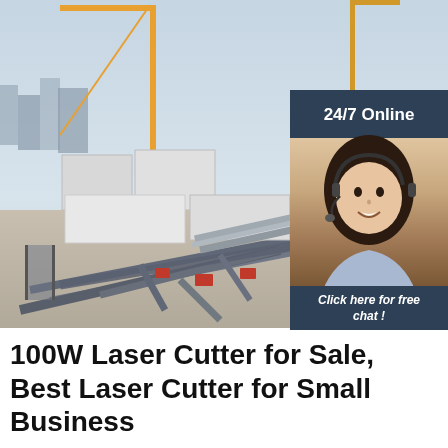[Figure (photo): Construction site with metal structural beams/pipes laid out on ground, cranes visible in background, industrial containers, overcast sky. An overlay sidebar shows a customer service agent with headset, text '24/7 Online', 'Click here for free chat!', and an orange 'QUOTATION' button.]
100W Laser Cutter for Sale, Best Laser Cutter for Small Business
Laser Tube. The co2 laser cutting machine's laser tube power is optional from 40w to 150w and